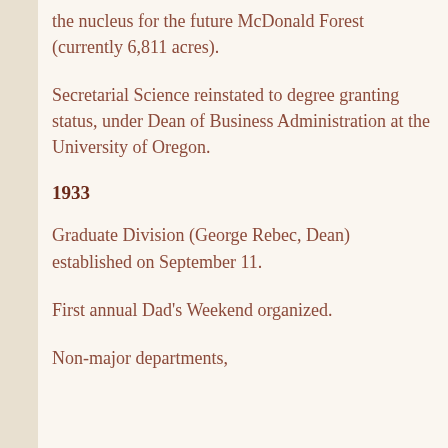the nucleus for the future McDonald Forest (currently 6,811 acres).
Secretarial Science reinstated to degree granting status, under Dean of Business Administration at the University of Oregon.
1933
Graduate Division (George Rebec, Dean) established on September 11.
First annual Dad's Weekend organized.
Non-major departments,